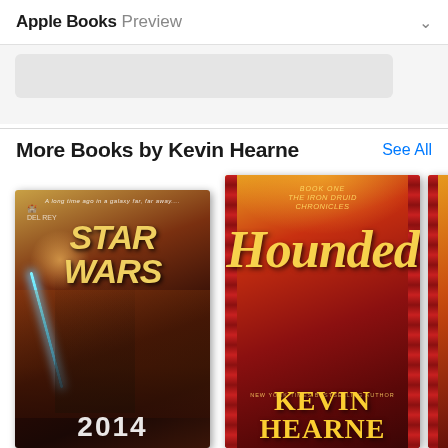Apple Books Preview
More Books by Kevin Hearne
See All
[Figure (photo): Book cover: Star Wars 2014, showing a character with a blue lightsaber against a fiery background]
[Figure (photo): Book cover: Hounded by Kevin Hearne, Book One of The Iron Druid Chronicles, New York Times Bestselling Author]
[Figure (photo): Partial book cover: another Kevin Hearne book with orange/red background, partially visible]